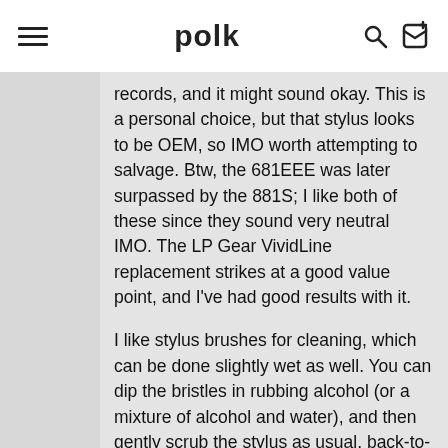polk
records, and it might sound okay. This is a personal choice, but that stylus looks to be OEM, so IMO worth attempting to salvage. Btw, the 681EEE was later surpassed by the 881S; I like both of these since they sound very neutral IMO. The LP Gear VividLine replacement strikes at a good value point, and I've had good results with it.
I like stylus brushes for cleaning, which can be done slightly wet as well. You can dip the bristles in rubbing alcohol (or a mixture of alcohol and water), and then gently scrub the stylus as usual, back-to-front. The Audio Technica AT607 stylus cleaner works very well, too, includes a brush, and is cheap. Personally, if/when I use a magic eraser, I remove the entire headshell/cartridge assembly, flip it over, and then dab the eraser on